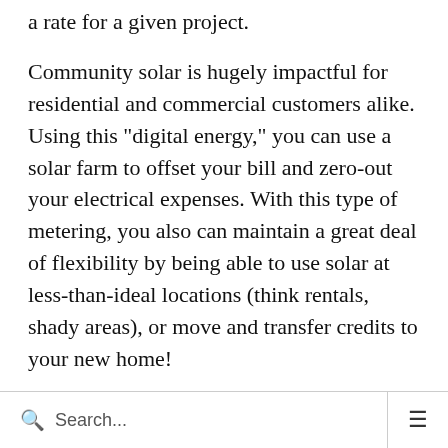a rate for a given project.
Community solar is hugely impactful for residential and commercial customers alike. Using this "digital energy," you can use a solar farm to offset your bill and zero-out your electrical expenses. With this type of metering, you also can maintain a great deal of flexibility by being able to use solar at less-than-ideal locations (think rentals, shady areas), or move and transfer credits to your new home!
The Bottom Line: Your Monthly Expenses
Search...  ☰